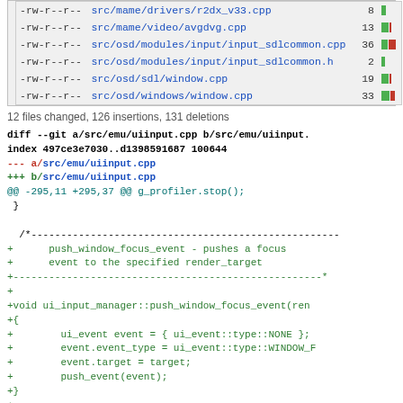| permissions | filename | count | bar |
| --- | --- | --- | --- |
| -rw-r--r-- | src/mame/drivers/r2dx_v33.cpp | 8 |  |
| -rw-r--r-- | src/mame/video/avgdvg.cpp | 13 |  |
| -rw-r--r-- | src/osd/modules/input/input_sdlcommon.cpp | 36 |  |
| -rw-r--r-- | src/osd/modules/input/input_sdlcommon.h | 2 |  |
| -rw-r--r-- | src/osd/sdl/window.cpp | 19 |  |
| -rw-r--r-- | src/osd/windows/window.cpp | 33 |  |
12 files changed, 126 insertions, 131 deletions
diff --git a/src/emu/uiinput.cpp b/src/emu/uiinput.
index 497ce3e7030..d1398591687 100644
--- a/src/emu/uiinput.cpp
+++ b/src/emu/uiinput.cpp
@@ -295,11 +295,37 @@ g_profiler.stop();
 }

  /*----------------------------------------------------
+      push_window_focus_event - pushes a focus
+      event to the specified render_target
+----------------------------------------------------*
+
+void ui_input_manager::push_window_focus_event(ren
+{
+        ui_event event = { ui_event::type::NONE };
+        event.event_type = ui_event::type::WINDOW_F
+        event.target = target;
+        push_event(event);
+}
+